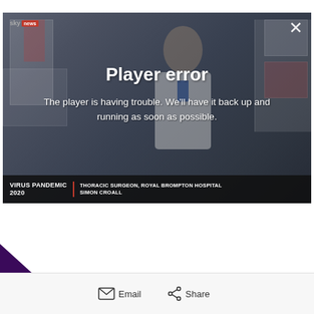[Figure (screenshot): Sky News video player showing 'Player error' message overlaid on a hospital scene with a doctor. The error reads: 'Player error - The player is having trouble. We'll have it back up and running as soon as possible.' Lower third shows 'VIRUS PANDEMIC 2020' and 'THORACIC SURGEON, ROYAL BROMPTON HOSPITAL, SIMON CROALL'. A close X button is in the top right.]
[Figure (illustration): Purple circular accessibility icon showing an ear with a line through it and an eye, partially visible at bottom right of page.]
[Figure (illustration): Purple triangle/dark background at bottom left corner with a settings gear icon.]
Email   Share